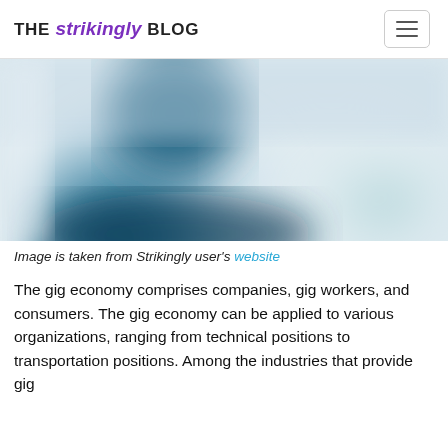THE strikingly BLOG
[Figure (photo): Blurred photo of a person, blue-gray tones with a soft-focus blurred effect, person appears to be in a work-related setting.]
Image is taken from Strikingly user's website
The gig economy comprises companies, gig workers, and consumers. The gig economy can be applied to various organizations, ranging from technical positions to transportation positions. Among the industries that provide gig